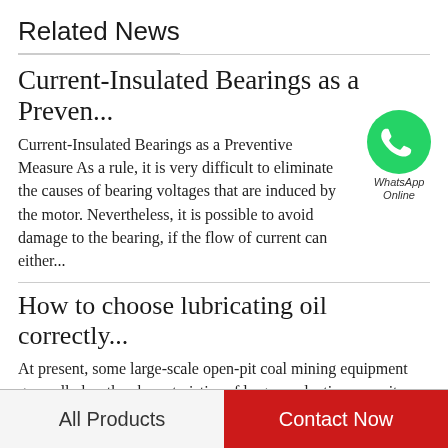Related News
Current-Insulated Bearings as a Preven...
Current-Insulated Bearings as a Preventive Measure As a rule, it is very difficult to eliminate the causes of bearing voltages that are induced by the motor. Nevertheless, it is possible to avoid damage to the bearing, if the flow of current can either...
[Figure (logo): WhatsApp green circular logo with phone handset icon, labeled 'WhatsApp Online']
How to choose lubricating oil correctly...
At present, some large-scale open-pit coal mining equipment generally has the characteristics of large production capacity, high automatic function and high investment in single equipment. Therefore, based on these characteristics, if the equipment is...
All Products   Contact Now